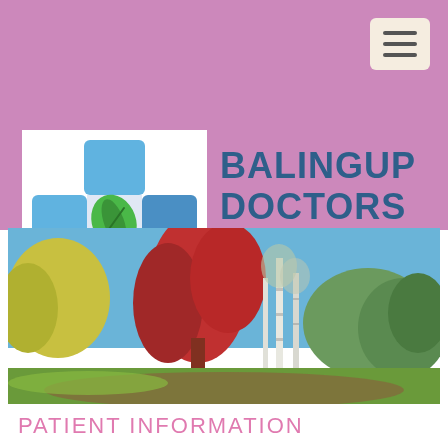[Figure (logo): Balingup Doctors Surgery logo: a medical cross made of blue quadrants with a green leaf in the center, on white background]
BALINGUP DOCTORS SURGERY
[Figure (photo): Outdoor nature photo showing colorful autumn trees including red-leafed trees and white-barked birch trees with green conifers under a blue sky, green lawn in foreground]
PATIENT INFORMATION